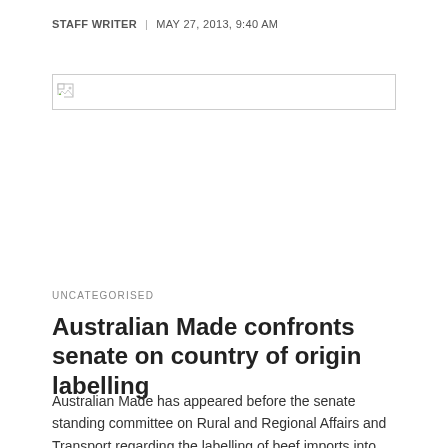STAFF WRITER  |  MAY 27, 2013, 9:40 AM
[Figure (other): Broken/missing image placeholder with small broken image icon]
UNCATEGORISED
Australian Made confronts senate on country of origin labelling
Australian Made has appeared before the senate standing committee on Rural and Regional Affairs and Transport regarding the labelling of beef imports into Australia.